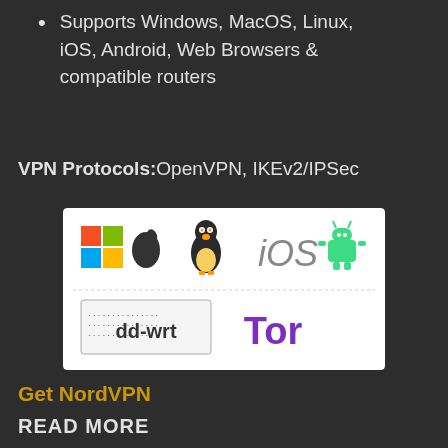Supports Windows, MacOS, Linux, iOS, Android, Web Browsers & compatible routers
VPN Protocols: OpenVPN, IKEv2/IPSec
[Figure (illustration): Platform compatibility logos: Windows, Apple/MacOS, Linux (Tux penguin), iOS, Android, dd-wrt router, Tor browser]
Get NordVPN
READ MORE
Best VPN Services
How to buy bitcoin
How to get Access To DarkWeb 2023
The Hidden Wiki 2023